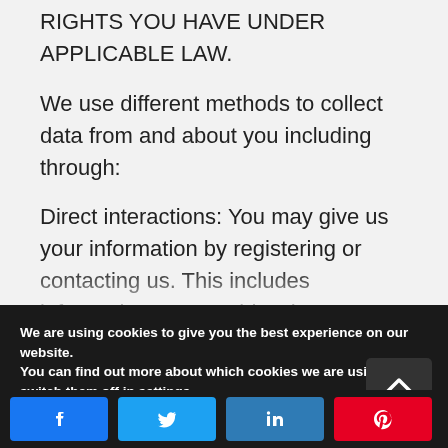RIGHTS YOU HAVE UNDER APPLICABLE LAW.
We use different methods to collect data from and about you including through:
Direct interactions: You may give us your information by registering or contacting us. This includes information you provide when you:
We are using cookies to give you the best experience on our website.
You can find out more about which cookies we are using or switch them off in settings.